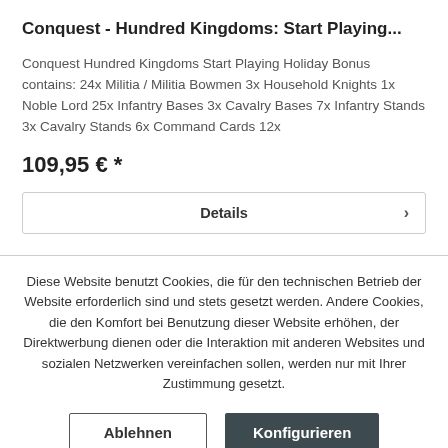Conquest - Hundred Kingdoms: Start Playing...
Conquest Hundred Kingdoms Start Playing Holiday Bonus contains: 24x Militia / Militia Bowmen 3x Household Knights 1x Noble Lord 25x Infantry Bases 3x Cavalry Bases 7x Infantry Stands 3x Cavalry Stands 6x Command Cards 12x
109,95 € *
Details
Diese Website benutzt Cookies, die für den technischen Betrieb der Website erforderlich sind und stets gesetzt werden. Andere Cookies, die den Komfort bei Benutzung dieser Website erhöhen, der Direktwerbung dienen oder die Interaktion mit anderen Websites und sozialen Netzwerken vereinfachen sollen, werden nur mit Ihrer Zustimmung gesetzt.
Ablehnen
Konfigurieren